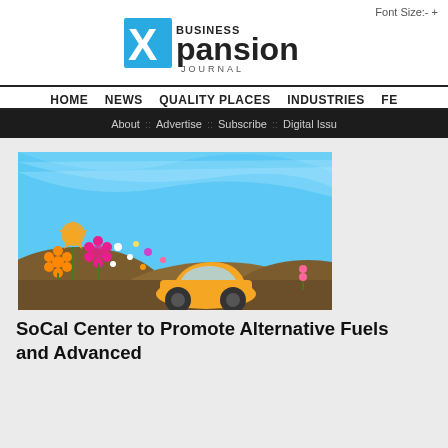Font Size:- +
[Figure (logo): Business Xpansion Journal logo — stylized blue X with 'BUSINESS Xpansion JOURNAL' text]
HOME   NEWS   QUALITY PLACES   INDUSTRIES   FE
About :: Advertise :: Subscribe :: Digital Issu
[Figure (illustration): Colorful cartoon illustration of a small orange car on a brown hilly road with flowers and blue sky background]
SoCal Center to Promote Alternative Fuels and Advanced